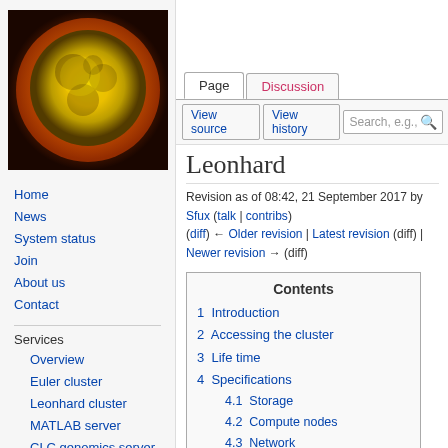Create account   Log in
[Figure (photo): Microscope image of a yellow glowing sphere (possibly a nanoparticle or cell) on a dark/orange background]
Home
News
System status
Join
About us
Contact
Services
Overview
Euler cluster
Leonhard cluster
MATLAB server
CLC genomics server
User documentation
Leonhard
Revision as of 08:42, 21 September 2017 by Sfux (talk | contribs)
(diff) ← Older revision | Latest revision (diff) | Newer revision → (diff)
| Contents |
| --- |
| 1  Introduction |
| 2  Accessing the cluster |
| 3  Life time |
| 4  Specifications |
| 4.1  Storage |
| 4.2  Compute nodes |
| 4.3  Network |
| 5  Prices |